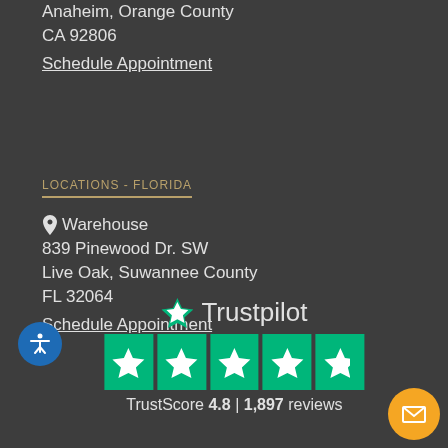Anaheim, Orange County
CA 92806
Schedule Appointment
LOCATIONS - FLORIDA
Warehouse
839 Pinewood Dr. SW
Live Oak, Suwannee County
FL 32064
Schedule Appointment
[Figure (logo): Trustpilot logo with green star and text, followed by 5 green star rating boxes. TrustScore 4.8 | 1,897 reviews]